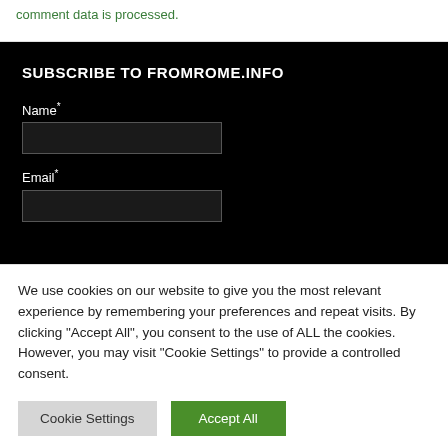comment data is processed.
SUBSCRIBE TO FROMROME.INFO
Name*
Email*
We use cookies on our website to give you the most relevant experience by remembering your preferences and repeat visits. By clicking "Accept All", you consent to the use of ALL the cookies. However, you may visit "Cookie Settings" to provide a controlled consent.
Cookie Settings
Accept All